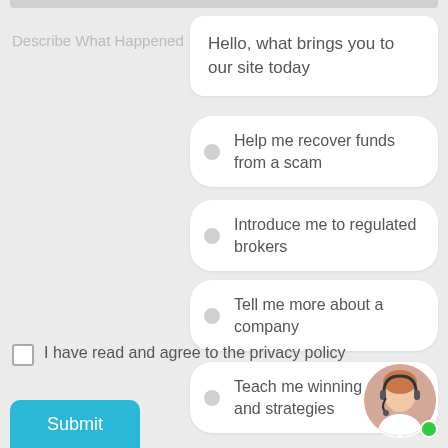Describe What Happened
Hello, what brings you to our site today
Help me recover funds from a scam
Introduce me to regulated brokers
Tell me more about a company
Teach me winning tactics and strategies
I have read and agree to the privacy policy
Submit
[Figure (photo): Customer service representative avatar with headset and green online indicator dot]